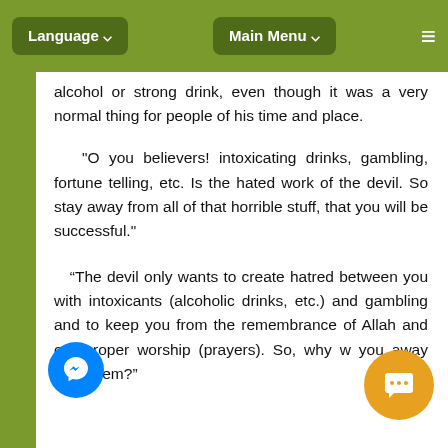Language ∨   Main Menu ∨   ≡
alcohol or strong drink, even though it was a very normal thing for people of his time and place.
"O you believers! intoxicating drinks, gambling, fortune telling, etc. Is the hated work of the devil. So stay away from all of that horrible stuff, that you will be successful."
“The devil only wants to create hatred between you with intoxicants (alcoholic drinks, etc.) and gambling and to keep you from the remembrance of Allah and your proper worship (prayers). So, why w you away from them?"